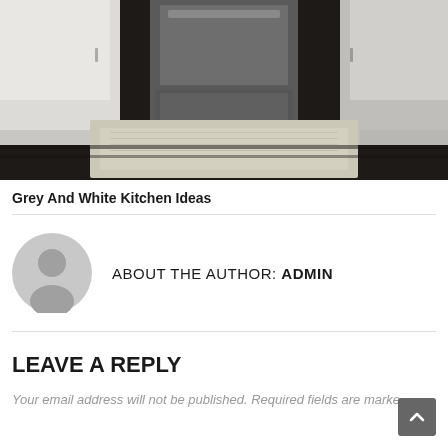[Figure (photo): Kitchen interior with white and grey cabinets, dark hardwood floor, and a light-colored area rug in front of the stainless steel oven/dishwasher area.]
Grey And White Kitchen Ideas
ABOUT THE AUTHOR: ADMIN
LEAVE A REPLY
Your email address will not be published. Required fields are marke